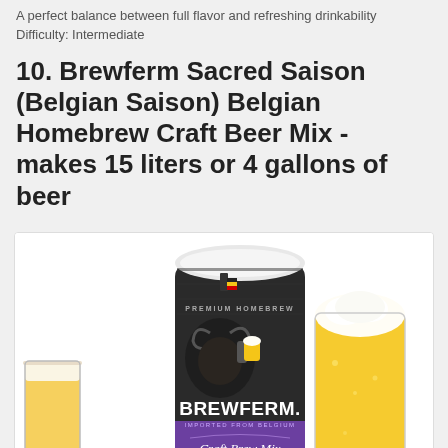A perfect balance between full flavor and refreshing drinkability
Difficulty: Intermediate
10. Brewferm Sacred Saison (Belgian Saison) Belgian Homebrew Craft Beer Mix - makes 15 liters or 4 gallons of beer
[Figure (photo): Product photo of a Brewferm Sacred Saison craft beer mix can (black and purple label, PREMIUM HOMEBREW, BREWFERM, IMPORTED FROM BELGIUM, Craft Brew Mix, SACRED text visible) flanked by two tall glasses of golden beer with foam heads, on a white background.]